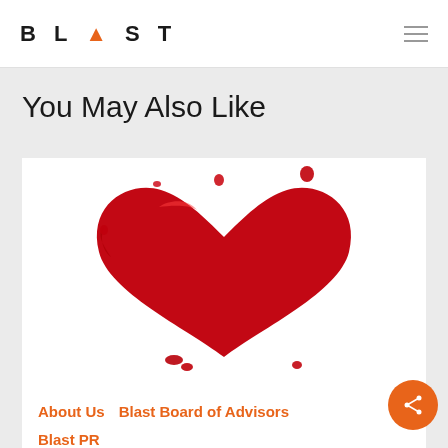BLAST
You May Also Like
[Figure (illustration): A red glossy heart shape made of liquid/paint splash against a white background, with small droplets around it.]
About Us   Blast Board of Advisors
Blast PR